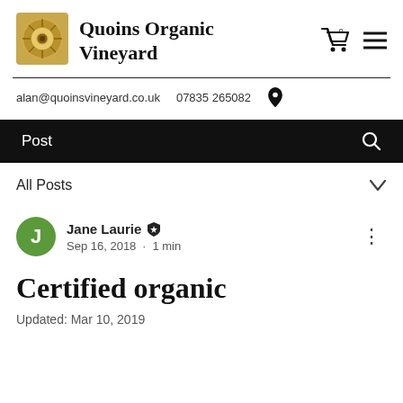Quoins Organic Vineyard
alan@quoinsvineyard.co.uk   07835 265082
Post
All Posts
Jane Laurie  Sep 16, 2018 · 1 min
Certified organic
Updated: Mar 10, 2019